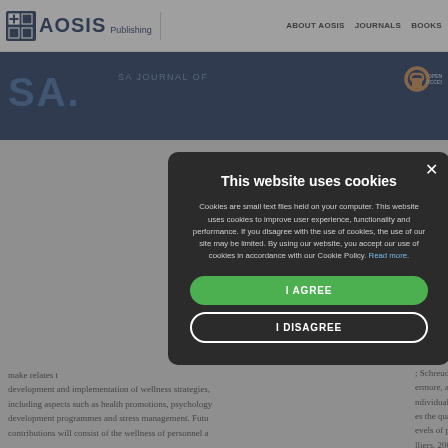AOSIS Publishing | ABOUT AOSIS | JOURNALS | BOOKS
[Figure (screenshot): AOSIS Publishing website screenshot showing cookie consent modal dialog over journal article page. Modal has dark background with title 'This website uses cookies', body text explaining cookie usage, 'I AGREE' green button and 'I DISAGREE' outlined button.]
This website uses cookies
Cookies are small text files held on your computer. This website uses cookies to improve user experience, functionality and performance. If you disagree with the use of cookies, the use of our site may be limited. By using our website, you accept our use of cookies in accordance with our Cookie Policy. Read more.